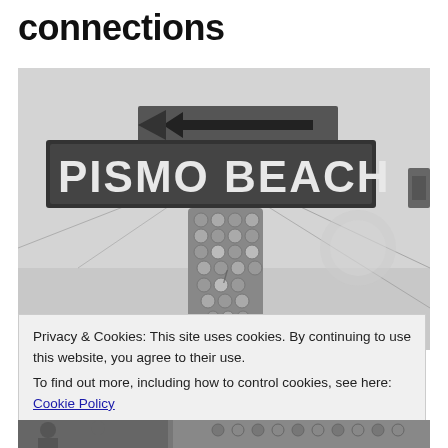connections
[Figure (photo): Black and white photograph of a Pismo Beach directional sign mounted on a decorative bottle-covered post, with an arrow sign above pointing left.]
Privacy & Cookies: This site uses cookies. By continuing to use this website, you agree to their use.
To find out more, including how to control cookies, see here: Cookie Policy
Close and accept